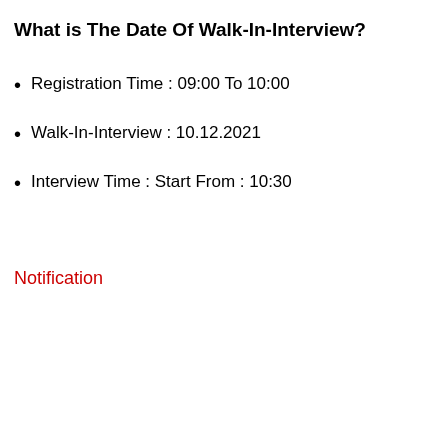What is The Date Of Walk-In-Interview?
Registration Time : 09:00 To 10:00
Walk-In-Interview : 10.12.2021
Interview Time : Start From : 10:30
Notification